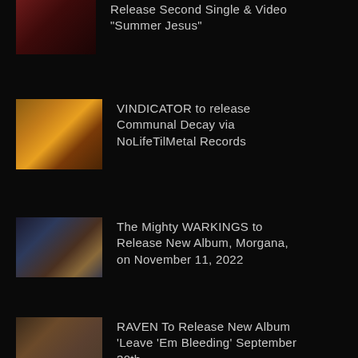Release Second Single & Video "Summer Jesus"
VINDICATOR to release Communal Decay via NoLifeTilMetal Records
The Mighty WARKINGS to Release New Album, Morgana, on November 11, 2022
RAVEN To Release New Album 'Leave 'Em Bleeding' September 30th